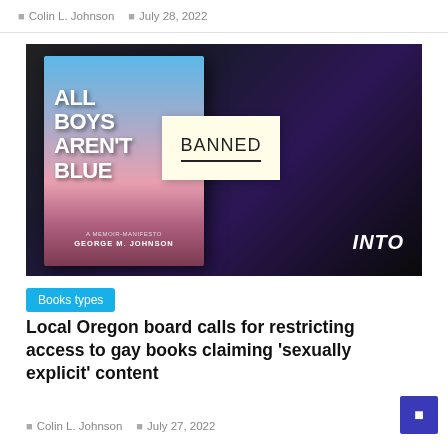Colin L. Johnson  |  July 28, 2022
[Figure (photo): Book cover of 'All Boys Aren't Blue' by George M. Johnson with a sticky note reading 'BANNED' placed over it, and the INTO logo in the bottom right corner. Dark background.]
Books types
Local Oregon board calls for restricting access to gay books claiming ‘sexually explicit’ content
Colin L. Johnson  |  July 27, 2022